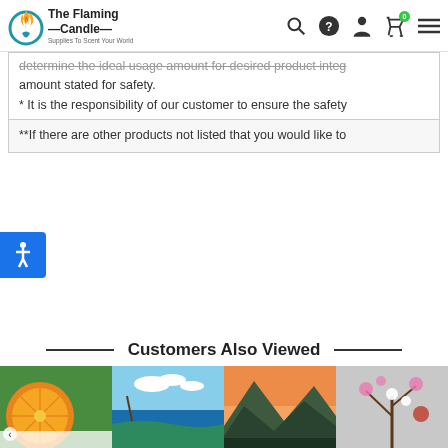The Flaming Candle — Supplies To Scent Your World
determine the ideal usage amount for desired product integrity... amount stated for safety.
* It is the responsibility of our customer to ensure the safety...
**If there are other products not listed that you would like to...
Customers Also Viewed
[Figure (photo): Product thumbnail images: orange/citrus slice, tropical beach, mountain forest landscape, flowering branches]
[Figure (screenshot): Accessibility icon button (blue square with white human figure icon)]